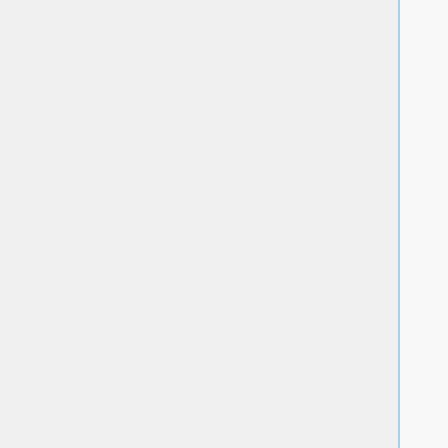no
  chemical_matching
no
  use_ligand_spheres
no
  bump_filter
no
  score_molecules
yes
  contact_score_primary
no
  contact_score_secondary
no
  grid_score_primary
yes
  grid_score_secondary
no
  grid_score_rep_rad_scale
1
  grid_score_vdw_scale
1
  grid_score_es_scale
1
  grid_score_grid_prefix
../03.box-grid/grid